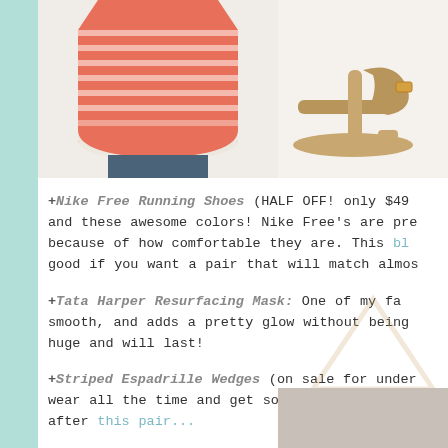[Figure (photo): Coral/orange striped top with white chiffon hem, model wearing jeans, cropped photo]
[Figure (photo): Brown leather flat sandal with ankle strap, partial view cropped on right]
+Nike Free Running Shoes (HALF OFF! only $49 and these awesome colors! Nike Free's are pre because of how comfortable they are. This bl good if you want a pair that will match almos
+Tata Harper Resurfacing Mask: One of my fa smooth, and adds a pretty glow without being huge and will last!
+Striped Espadrille Wedges (on sale for under wear all the time and get so many compliment after this pair...